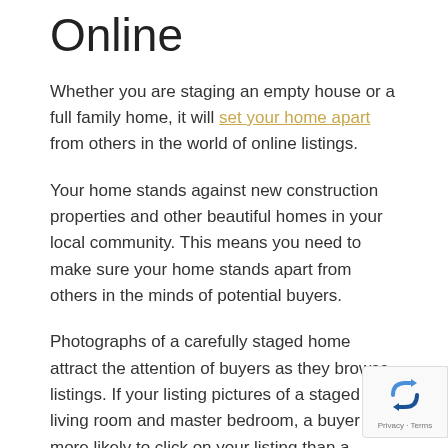Online
Whether you are staging an empty house or a full family home, it will set your home apart from others in the world of online listings.
Your home stands against new construction properties and other beautiful homes in your local community. This means you need to make sure your home stands apart from others in the minds of potential buyers.
Photographs of a carefully staged home attract the attention of buyers as they browse listings. If your listing pictures of a staged living room and master bedroom, a buyer is more likely to click on your listing than a similarly priced home with average pictures that lack staging.